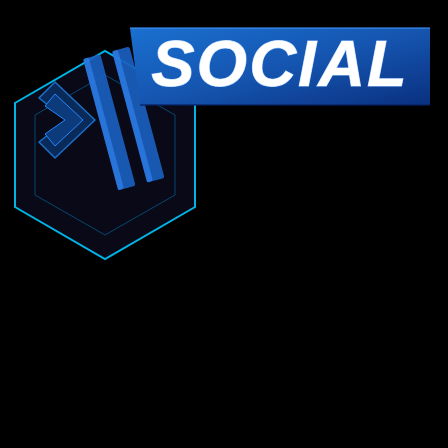[Figure (infographic): Social media page graphic with dark background, hexagonal geometric design in the upper left with cyan/blue neon outline, a blue banner with white italic bold text 'SOCIAL', and two social media icons below: a Twitter bird icon on a blue square and an Instagram camera icon on a pink/magenta square.]